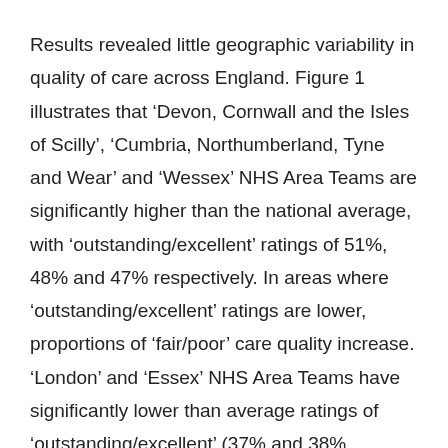Results revealed little geographic variability in quality of care across England. Figure 1 illustrates that ‘Devon, Cornwall and the Isles of Scilly’, ‘Cumbria, Northumberland, Tyne and Wear’ and ‘Wessex’ NHS Area Teams are significantly higher than the national average, with ‘outstanding/excellent’ ratings of 51%, 48% and 47% respectively. In areas where ‘outstanding/excellent’ ratings are lower, proportions of ‘fair/poor’ care quality increase. ‘London’ and ‘Essex’ NHS Area Teams have significantly lower than average ratings of ‘outstanding/excellent’ (37% and 38% respectively), and the highest proportions of ‘fair/poor’ results (30%, 26% respectively).